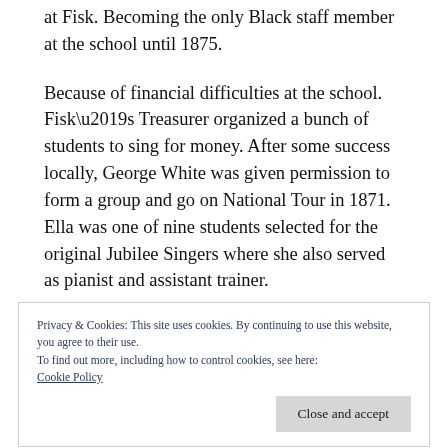at Fisk. Becoming the only Black staff member at the school until 1875.
Because of financial difficulties at the school. Fisk’s Treasurer organized a bunch of students to sing for money. After some success locally, George White was given permission to form a group and go on National Tour in 1871. Ella was one of nine students selected for the original Jubilee Singers where she also served as pianist and assistant trainer.
Privacy & Cookies: This site uses cookies. By continuing to use this website, you agree to their use.
To find out more, including how to control cookies, see here:
Cookie Policy
The first tour raised $20,000 which purchased